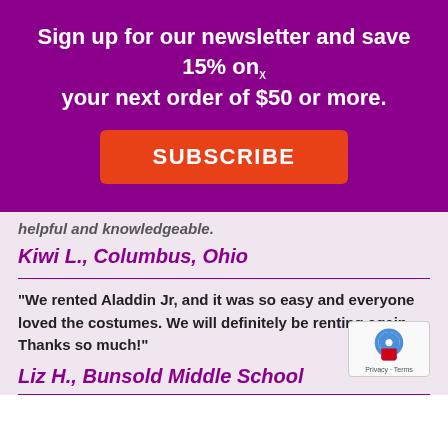Sign up for our newsletter and save 15% on your next order of $50 or more.
SUBSCRIBE
helpful and knowledgeable.
Kiwi L., Columbus, Ohio
“We rented Aladdin Jr, and it was so easy and everyone loved the costumes. We will definitely be renting again. Thanks so much!”
Liz H., Bunsold Middle School